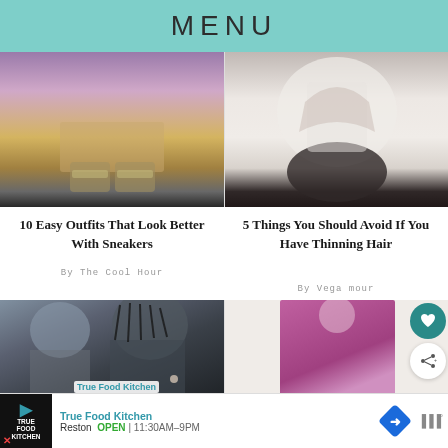MENU
[Figure (photo): Person sitting on steps wearing colorful patterned pants and sneakers]
10 Easy Outfits That Look Better With Sneakers
By The Cool Hour
[Figure (photo): Woman in white blouse sitting in circular chair, hands near face]
5 Things You Should Avoid If You Have Thinning Hair
By Vega mour
[Figure (photo): Celebrity/person with cornrows hairstyle, close-up]
[Figure (photo): Woman in magenta/pink dress, product shot]
True Food Kitchen
Reston   OPEN  |  11:30AM–9PM